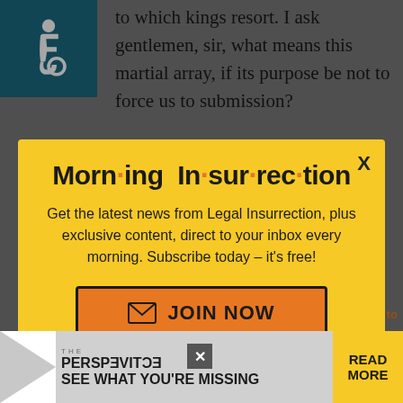to which kings resort. I ask gentlemen, sir, what means this martial array, if its purpose be not to force us to submission?
[Figure (infographic): Yellow modal popup overlay. Title: Morning Insurrection with orange bullet dots between syllables. Body text: Get the latest news from Legal Insurrection, plus exclusive content, direct to your inbox every morning. Subscribe today – it's free! Orange JOIN NOW button with envelope icon. X close button top right.]
bind and put upon us those chains which the British ministry...
[Figure (infographic): Bottom advertisement bar showing THE PERSPECTIVE with reversed letters, SEE WHAT YOU'RE MISSING text, and READ MORE button in yellow.]